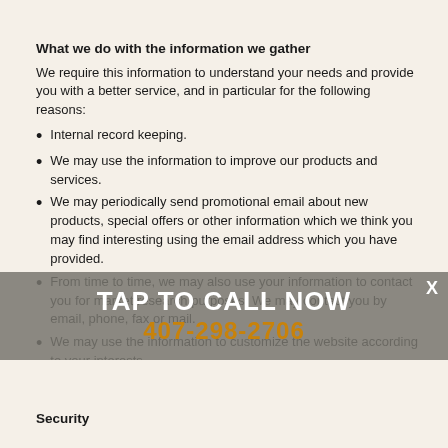What we do with the information we gather
We require this information to understand your needs and provide you with a better service, and in particular for the following reasons:
Internal record keeping.
We may use the information to improve our products and services.
We may periodically send promotional email about new products, special offers or other information which we think you may find interesting using the email address which you have provided.
From time to time, we may also use your information to contact you for market research purposes. We may contact you by email, phone, fax or mail.
We may use the information to customize the website according to your interests.
We may provide your information to our third party partners for marketing or promotional purposes.
We will never sell your information.
[Figure (infographic): Gray overlay banner with white bold text 'TAP TO CALL NOW' and orange phone number '407-298-2706', with an X close button in upper right corner.]
Security